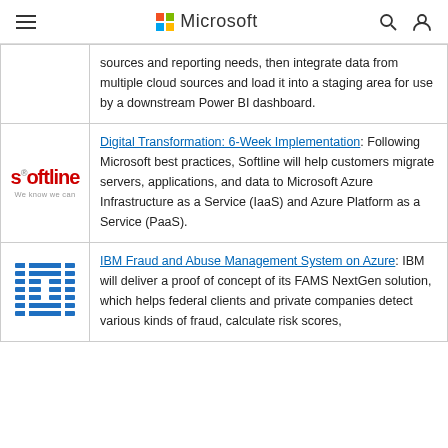Microsoft
sources and reporting needs, then integrate data from multiple cloud sources and load it into a staging area for use by a downstream Power BI dashboard.
[Figure (logo): Softline company logo]
Digital Transformation: 6-Week Implementation: Following Microsoft best practices, Softline will help customers migrate servers, applications, and data to Microsoft Azure Infrastructure as a Service (IaaS) and Azure Platform as a Service (PaaS).
[Figure (logo): IBM company logo]
IBM Fraud and Abuse Management System on Azure: IBM will deliver a proof of concept of its FAMS NextGen solution, which helps federal clients and private companies detect various kinds of fraud, calculate risk scores,